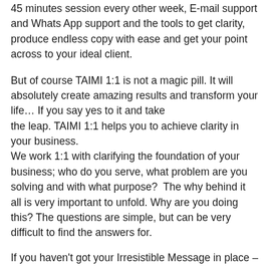45 minutes session every other week, E-mail support and Whats App support and the tools to get clarity, produce endless copy with ease and get your point across to your ideal client.
But of course TAIMI 1:1 is not a magic pill. It will absolutely create amazing results and transform your life… If you say yes to it and take the leap. TAIMI 1:1 helps you to achieve clarity in your business.
We work 1:1 with clarifying the foundation of your business; who do you serve, what problem are you solving and with what purpose?  The why behind it all is very important to unfold. Why are you doing this? The questions are simple, but can be very difficult to find the answers for.
If you haven't got your Irresistible Message in place – we